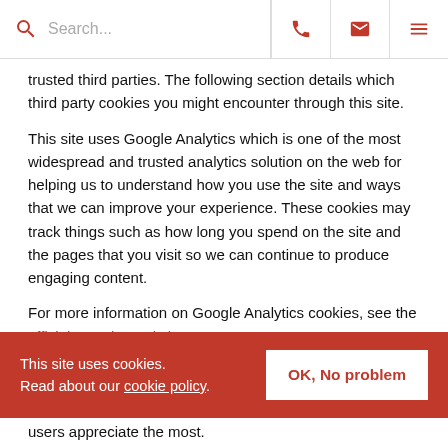Search...
trusted third parties. The following section details which third party cookies you might encounter through this site.
This site uses Google Analytics which is one of the most widespread and trusted analytics solution on the web for helping us to understand how you use the site and ways that we can improve your experience. These cookies may track things such as how long you spend on the site and the pages that you visit so we can continue to produce engaging content.
For more information on Google Analytics cookies, see the official Google Analytics page.
From time to time we test new features and make subtle changes to the way that the site is delivered. When we are
users appreciate the most.